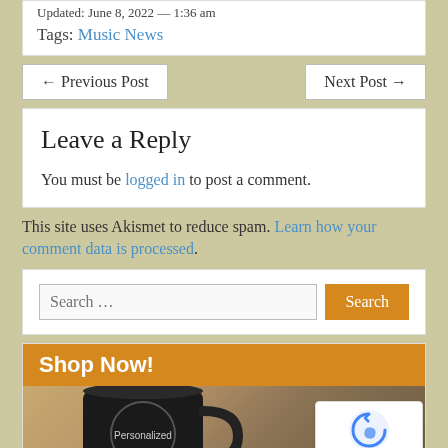Updated: June 8, 2022 — 1:36 am
Tags: Music News
← Previous Post
Next Post →
Leave a Reply
You must be logged in to post a comment.
This site uses Akismet to reduce spam. Learn how your comment data is processed.
Search …
Shop Now!
[Figure (photo): Photo of a personalized black mug with heart-shaped handle, with 'Free' text in blue and 'Personalized' text on the mug]
[Figure (other): reCAPTCHA badge with Google logo, Privacy and Terms links]